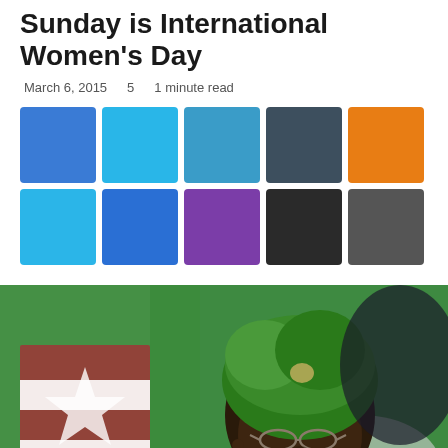Sunday is International Women's Day
March 6, 2015   5   1 minute read
[Figure (infographic): Color swatches: blue, light blue, steel blue, dark slate, orange, sky blue, royal blue, purple, black, dark gray]
[Figure (photo): Woman wearing a green headwrap and glasses, seated near a flag with a star, photographed at an official event]